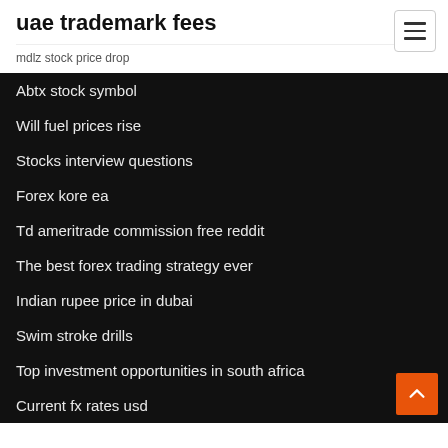uae trademark fees
mdlz stock price drop
Abtx stock symbol
Will fuel prices rise
Stocks interview questions
Forex kore ea
Td ameritrade commission free reddit
The best forex trading strategy ever
Indian rupee price in dubai
Swim stroke drills
Top investment opportunities in south africa
Current fx rates usd